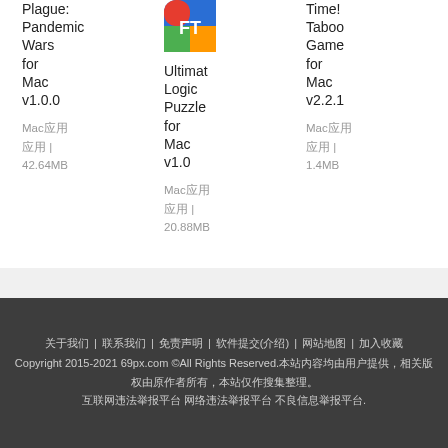Plague: Pandemic Wars for Mac v1.0.0
Mac应用 | 42.64MB
[Figure (logo): App icon for Ultimate Logic Puzzle - FT logo on colorful background]
Ultimate Logic Puzzle for Mac v1.0
Mac应用 | 20.88MB
Time! Taboo Game for Mac v2.2.1
Mac应用 | 1.4MB
关于我们 | 联系我们 | 免责声明 | 软件提交(介绍) | 网站地图 | 加入收藏
Copyright 2015-2021 69px.com ©All Rights Reserved.本站内容均由用户提供，相关版权由原作者所有，本站仅作搜集整理。